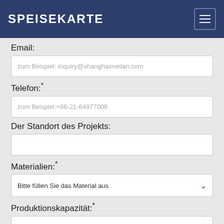SPEISEKARTE
Email:
zum Beispiel: inquiry@shanghaimeilan.com
Telefon:*
zum Beispiel:+86-21-64977006
Der Standort des Projekts:
Materialien:*
Bitte füllen Sie das Material aus
Produktionskapazität:*
zum Beispiel:200TPH
Nachricht und Feedback:*